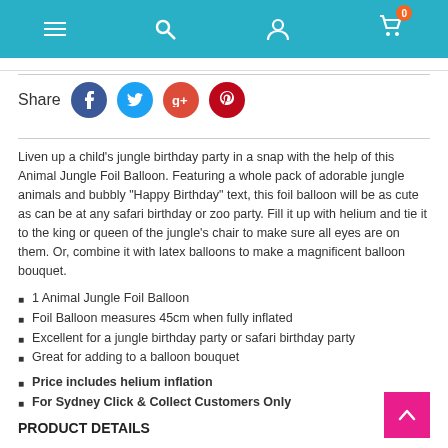Navigation bar with menu, search, account, and cart (0 items) icons
[Figure (infographic): Share row with Facebook, Twitter, Google+, and Pinterest social media circular buttons]
Liven up a child's jungle birthday party in a snap with the help of this Animal Jungle Foil Balloon. Featuring a whole pack of adorable jungle animals and bubbly "Happy Birthday" text, this foil balloon will be as cute as can be at any safari birthday or zoo party. Fill it up with helium and tie it to the king or queen of the jungle's chair to make sure all eyes are on them. Or, combine it with latex balloons to make a magnificent balloon bouquet.
1 Animal Jungle Foil Balloon
Foil Balloon measures 45cm when fully inflated
Excellent for a jungle birthday party or safari birthday party
Great for adding to a balloon bouquet
Price includes helium inflation
For Sydney Click & Collect Customers Only
PRODUCT DETAILS